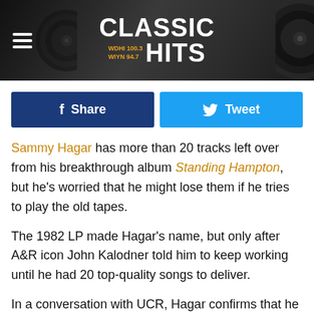Classic Hits WDHI 100.3 WIYN 94.7
[Figure (other): Social share buttons: Facebook Share (dark blue) and Tweet (light blue) side by side]
Sammy Hagar has more than 20 tracks left over from his breakthrough album Standing Hampton, but he's worried that he might lose them if he tries to play the old tapes.
The 1982 LP made Hagar's name, but only after A&R icon John Kalodner told him to keep working until he had 20 top-quality songs to deliver.
In a conversation with UCR, Hagar confirms that he has unreleased material from that time.